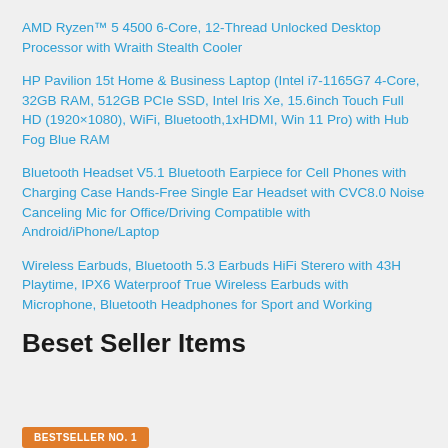AMD Ryzen™ 5 4500 6-Core, 12-Thread Unlocked Desktop Processor with Wraith Stealth Cooler
HP Pavilion 15t Home & Business Laptop (Intel i7-1165G7 4-Core, 32GB RAM, 512GB PCIe SSD, Intel Iris Xe, 15.6inch Touch Full HD (1920×1080), WiFi, Bluetooth,1xHDMI, Win 11 Pro) with Hub Fog Blue RAM
Bluetooth Headset V5.1 Bluetooth Earpiece for Cell Phones with Charging Case Hands-Free Single Ear Headset with CVC8.0 Noise Canceling Mic for Office/Driving Compatible with Android/iPhone/Laptop
Wireless Earbuds, Bluetooth 5.3 Earbuds HiFi Sterero with 43H Playtime, IPX6 Waterproof True Wireless Earbuds with Microphone, Bluetooth Headphones for Sport and Working
Beset Seller Items
BESTSELLER NO. 1